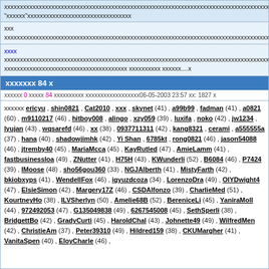xxxxxxxxxxxxxxxxxxxxxxxxxxxxxxxxxxxxxxxxxxxxxxxxxxxxxxxxxxxxxxxxxxxxxxxxxxxxxxxxxxxxxxxxxxxxxxxxxx "xxxxxx"xxxxxxxxxxxxxxxxxxxxxxxxxxxxxxxxx
xxx
xxxxxxxxxxxxxxxxxxxxxxxxxxxxxxxxxxxxxxxxxxxxxxxxxxxxxxxxxxxxxxxxxxxxxxxxxxxxxxxxxxxxxxxxxxxxxxxxxxxxxxx
| topic | posts | replies | last post |
| --- | --- | --- | --- |
| xxxx xxxxxxxxxxxxxxxxxxxxxxxxxxxxxxxxxxxxxxxxxxxxxxxxxxxxxxxxxxxxxxxxxxxxxxxxxxxxxxxxxxxxxxxxxxxxxxxxxx xxxxxxxxxxxxxxxxxxxxxxxxxxxxxxxxxxxxxxx xxxxxxxxxx xxxxxx....x | 210 | 12 | 07-27-2012 19:26 by joy6811 |
xxxxxxx 84 x
xxxxxx 0 xxxxx 84 xxxxxxxxxx xxxxxxxxxxxxxxxxxx06-05-2003 23:57 xx: 1827 x
xxxxxx ericyu , shin0821 , Cat2010 , xxx , skynet (41) , a99b99 , fadman (41) , a0821 (60) , m9110217 (46) , hitboy008 , alingo , xzy059 (39) , luxifa , noko (42) , jw1234 , lyujan (43) , wqsarefd (46) , xx (38) , 0937711311 (42) , kang8321 , cerami , a555555a (37) , hana (40) , shadowjimhk (42) , Yi Shan , 6785kt , rong0821 (46) , jason54088 (46) , jtremby40 (45) , MariaMcca (45) , KayRutled (47) , AmieLamm (41) , fastbusinessloa (49) , ZNutter (41) , H75H (43) , KWunderli (52) , B6084 (46) , P7424 (39) , IMoose (48) , sho56gou360 (33) , NGJAlberth (41) , MistyFarth (42) , bkiobxyps (41) , WendellFox (46) , igyuzdcoza (34) , LorenzoDra (49) , OIYDwight4 (47) , ElsieSimon (42) , Margery17Z (46) , CSDAlfonzo (39) , CharlieMed (51) , KourtneyHo (38) , ILVSherlyn (50) , Amelie68B (52) , BereniceLi (45) , YaniraMoll (44) , 972492053 (47) , G135049838 (49) , 6267545008 (45) , SethSperli (38) , BridgettBo (42) , GradyCurti (45) , HaroldChal (43) , Johnette49 (49) , WilfredMen (42) , ChristieAm (37) , Peter39310 (49) , Hildred159 (38) , CKUMargher (41) , VanitaSpen (40) , EloyCharle (46) ,